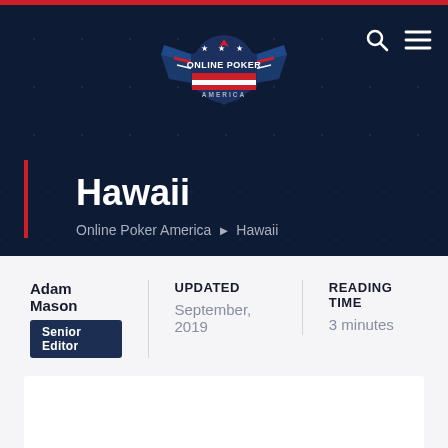[Figure (logo): Online Poker America logo with eagle, stars, and red/white/blue color scheme]
Hawaii
Online Poker America > Hawaii
Adam Mason
Senior Editor
UPDATED
September, 2019
READING TIME
3 minutes